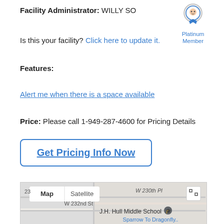Facility Administrator: WILLY SO
[Figure (illustration): Platinum Member badge with ribbon icon and text 'Platinum Member']
Is this your facility? Click here to update it.
Features:
Alert me when there is a space available
Price: Please call 1-949-287-4600 for Pricing Details
Get Pricing Info Now
[Figure (map): Google Maps embed showing J.H. Hull Middle School, W 232nd St, Sparrow To Dragonfly location, with Map/Satellite toggle tabs and expand button]